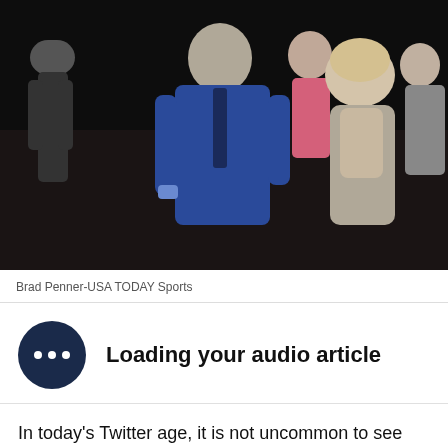[Figure (photo): People at a formal event; a man in a blue suit and dark tie faces a woman in a silver backless dress, with other people visible in the background]
Brad Penner-USA TODAY Sports
Loading your audio article
In today's Twitter age, it is not uncommon to see people attempt to draw conclusions from tweets. Such as DeMarcus Cousins' tweet after the